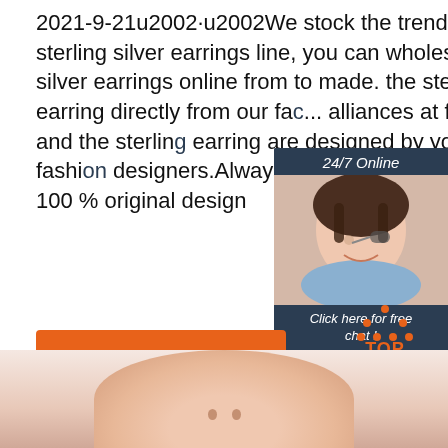2021-9-21u2002·u2002We stock the trend items in the sterling silver earrings line, you can wholesale sterling silver earrings online from to made. the sterling silver earring directly from our fa... alliances at factory price and the sterlin... earring are designed by your local fashi... designers.Always unique silver style, hi... and 100 % original design
[Figure (other): Chat widget with woman wearing headset, showing '24/7 Online', 'Click here for free chat!', and 'QUOTATION' button]
[Figure (other): Orange 'Get Price' button]
[Figure (other): TOP navigation icon with orange dots and text]
[Figure (photo): Close-up photo of a person's face (nose area visible) at bottom of page]